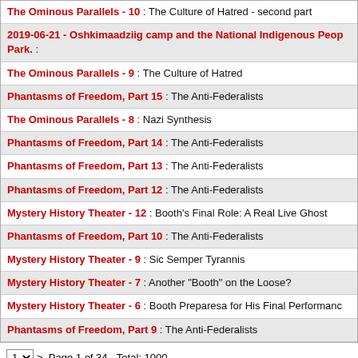The Ominous Parallels - 10 : The Culture of Hatred - second part
2019-06-21 - Oshkimaadziig camp and the National Indigenous People Park. :
The Ominous Parallels - 9 : The Culture of Hatred
Phantasms of Freedom, Part 15 : The Anti-Federalists
The Ominous Parallels - 8 : Nazi Synthesis
Phantasms of Freedom, Part 14 : The Anti-Federalists
Phantasms of Freedom, Part 13 : The Anti-Federalists
Phantasms of Freedom, Part 12 : The Anti-Federalists
Mystery History Theater - 12 : Booth's Final Role: A Real Live Ghost
Phantasms of Freedom, Part 10 : The Anti-Federalists
Mystery History Theater - 9 : Sic Semper Tyrannis
Mystery History Theater - 7 : Another "Booth" on the Loose?
Mystery History Theater - 6 : Booth Preparesa for His Final Performance
Phantasms of Freedom, Part 9 : The Anti-Federalists
1 > Page 1 of 34 - Total: 1000